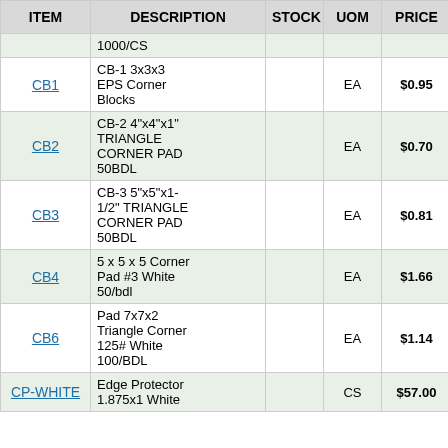| ITEM | DESCRIPTION | STOCK | UOM | PRICE | A... C... |
| --- | --- | --- | --- | --- | --- |
|  | 1000/CS |  |  |  |  |
| CB1 | CB-1 3x3x3 EPS Corner Blocks |  | EA | $0.95 | 50 |
| CB2 | CB-2 4"x4"x1" TRIANGLE CORNER PAD 50BDL |  | EA | $0.70 | 50 |
| CB3 | CB-3 5"x5"x1-1/2" TRIANGLE CORNER PAD 50BDL |  | EA | $0.81 | 50 |
| CB4 | 5 x 5 x 5 Corner Pad #3 White 50/bdl |  | EA | $1.66 | 50 |
| CB6 | Pad 7x7x2 Triangle Corner 125# White 100/BDL |  | EA | $1.14 | 50 |
| CP-WHITE | Edge Protector 1.875x1 White |  | CS | $57.00 | 1 |